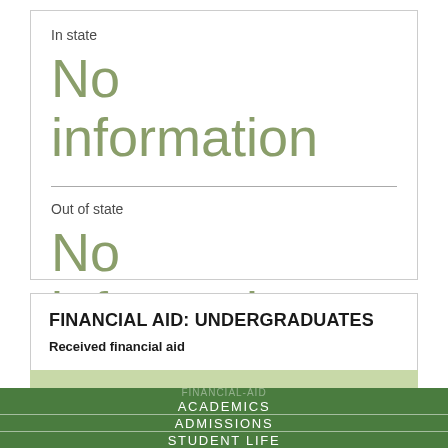In state
No information
Out of state
No information
FINANCIAL AID: UNDERGRADUATES
Received financial aid
FINANCIAL-AID
ACADEMICS
ADMISSIONS
STUDENT LIFE